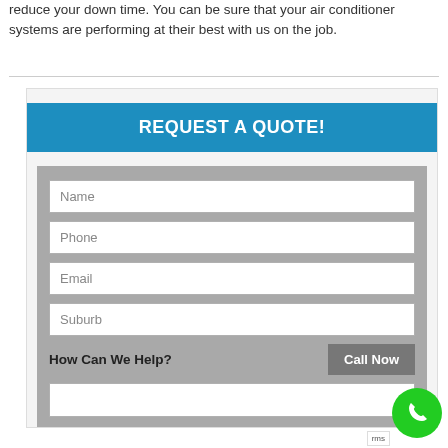reduce your down time. You can be sure that your air conditioner systems are performing at their best with us on the job.
REQUEST A QUOTE!
Name
Phone
Email
Suburb
How Can We Help?
[Figure (other): Green phone call icon button]